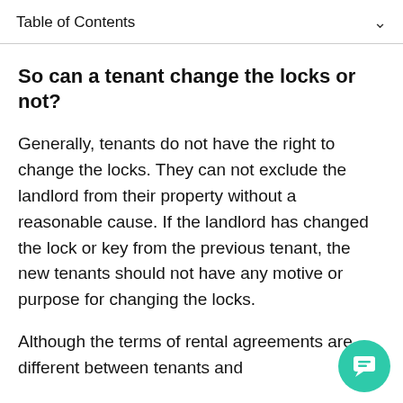Table of Contents
So can a tenant change the locks or not?
Generally, tenants do not have the right to change the locks. They can not exclude the landlord from their property without a reasonable cause. If the landlord has changed the lock or key from the previous tenant, the new tenants should not have any motive or purpose for changing the locks.
Although the terms of rental agreements are different between tenants and